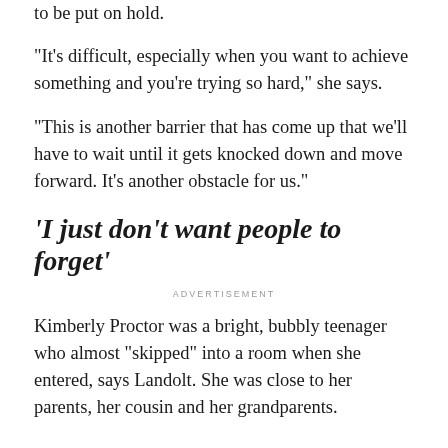everything else in life, she suspects that will also have to be put on hold.
"It's difficult, especially when you want to achieve something and you're trying so hard," she says.
"This is another barrier that has come up that we'll have to wait until it gets knocked down and move forward. It's another obstacle for us."
'I just don't want people to forget'
ADVERTISEMENT
Kimberly Proctor was a bright, bubbly teenager who almost "skipped" into a room when she entered, says Landolt. She was close to her parents, her cousin and her grandparents.